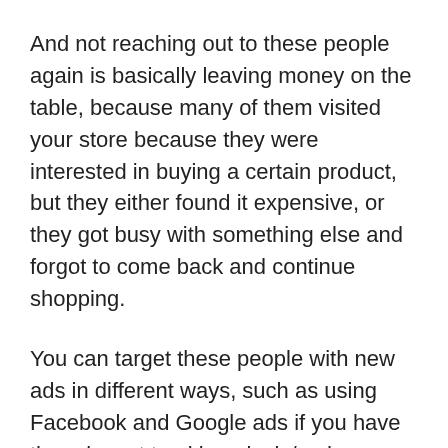And not reaching out to these people again is basically leaving money on the table, because many of them visited your store because they were interested in buying a certain product, but they either found it expensive, or they got busy with something else and forgot to come back and continue shopping.
You can target these people with new ads in different ways, such as using Facebook and Google ads if you have the relevant tracking pixels/codes installed on your Shopify store, or you can set up abandoned cart emails if they have already filled-in the checkout page but didn't pay.